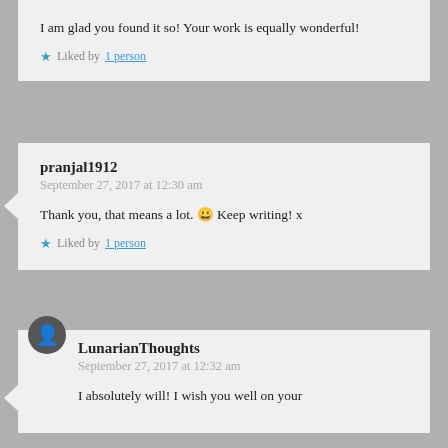I am glad you found it so! Your work is equally wonderful!
Liked by 1 person
pranjal1912
September 27, 2017 at 12:30 am
Thank you, that means a lot. 😀 Keep writing! x
Liked by 1 person
LunarianThoughts
September 27, 2017 at 12:32 am
I absolutely will! I wish you well on your